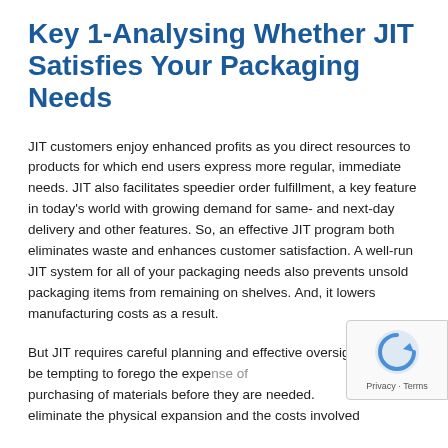Key 1-Analysing Whether JIT Satisfies Your Packaging Needs
JIT customers enjoy enhanced profits as you direct resources to products for which end users express more regular, immediate needs. JIT also facilitates speedier order fulfillment, a key feature in today’s world with growing demand for same- and next-day delivery and other features. So, an effective JIT program both eliminates waste and enhances customer satisfaction. A well-run JIT system for all of your packaging needs also prevents unsold packaging items from remaining on shelves. And, it lowers manufacturing costs as a result.
But JIT requires careful planning and effective oversight. It may be tempting to forego the expense of purchasing of materials before they are needed. eliminate the physical expansion and the costs involved